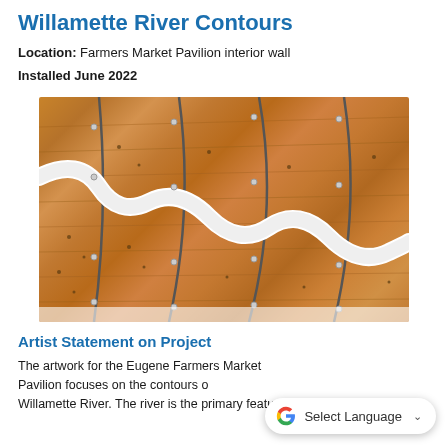Willamette River Contours
Location: Farmers Market Pavilion interior wall
Installed June 2022
[Figure (photo): Close-up photo of a wooden wall sculpture showing contour layers of wood panels with white river-shaped channels running through them, representing the Willamette River. Metal screws/bolts are visible at regular intervals.]
Artist Statement on Project
The artwork for the Eugene Farmers Market Pavilion focuses on the contours of the Willamette River. The river is the primary feature